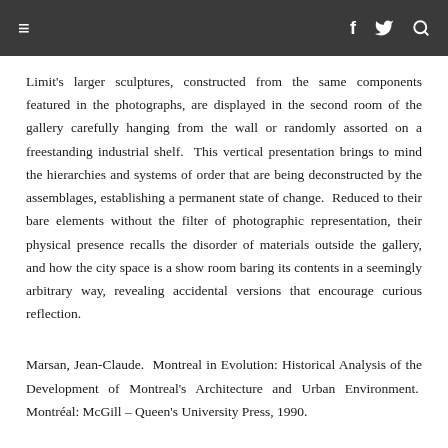≡  f  🐦  🔍
Limit's larger sculptures, constructed from the same components featured in the photographs, are displayed in the second room of the gallery carefully hanging from the wall or randomly assorted on a freestanding industrial shelf. This vertical presentation brings to mind the hierarchies and systems of order that are being deconstructed by the assemblages, establishing a permanent state of change. Reduced to their bare elements without the filter of photographic representation, their physical presence recalls the disorder of materials outside the gallery, and how the city space is a show room baring its contents in a seemingly arbitrary way, revealing accidental versions that encourage curious reflection.
Marsan, Jean-Claude. Montreal in Evolution: Historical Analysis of the Development of Montreal's Architecture and Urban Environment. Montréal: McGill – Queen's University Press, 1990.